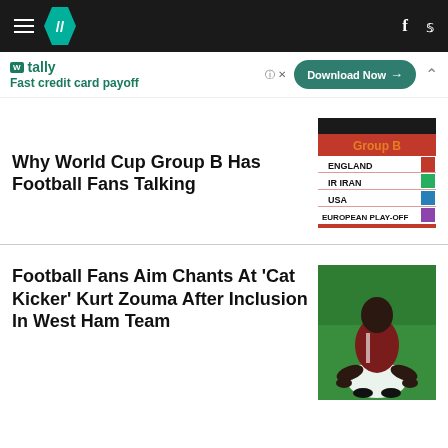HuffPost navigation header with hamburger menu, logo, Facebook and Twitter icons
[Figure (other): Tally advertisement banner: Fast credit card payoff, Download Now button]
Why World Cup Group B Has Football Fans Talking
[Figure (infographic): World Cup Group B draw showing: England, IR Iran, USA, European Play-Off with country flags]
Football Fans Aim Chants At 'Cat Kicker' Kurt Zouma After Inclusion In West Ham Team
[Figure (photo): Photo of Kurt Zouma in a maroon and white football kit, crouching on the ground]